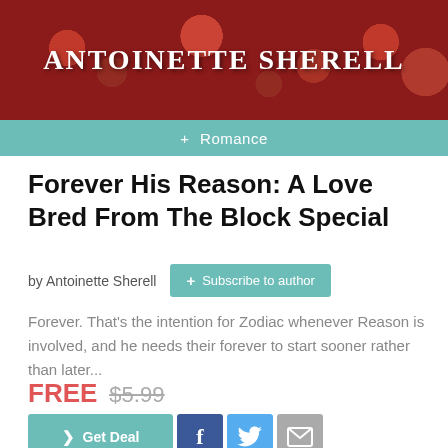[Figure (photo): Red roses background with author name 'ANTOINETTE SHERELL' in white serif text overlay]
+ Romance
Forever His Reason: A Love Bred From The Block Special
by Antoinette Sherell
+ Subscribe to author
Forever. That’s the intention for Zodiac whenever Reason is involved, and he needs their forever to start sooner rather than later...
FREE $5.99
> Get Deal
f
Twitter icon
Email icon